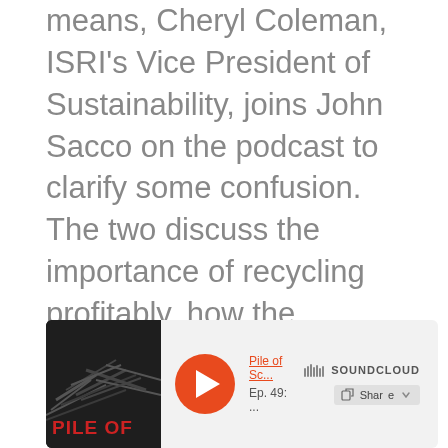means, Cheryl Coleman, ISRI's Vice President of Sustainability, joins John Sacco on the podcast to clarify some confusion. The two discuss the importance of recycling profitably, how the packaging industry is a critical factor in furthering that push, and how ISRI has created a plan with brands to implement some protocols to execute it. As we sit down with Cheryl, we get some overall insight into what's in store for this industry to keep sustainability intact.
[Figure (screenshot): SoundCloud embedded audio player showing 'Pile of Sc...' podcast episode 'Ep. 49: ...' with a play button, podcast thumbnail image showing 'PILE OF' text in red on dark background with debris imagery, SoundCloud logo, and Share button]